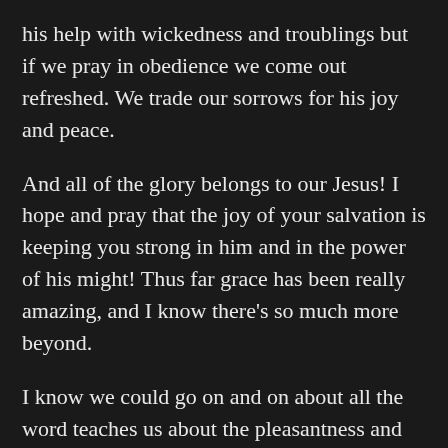his help with wickedness and troublings but if we pray in obedience we come out refreshed. We trade our sorrows for his joy and peace.
And all of the glory belongs to our Jesus! I hope and pray that the joy of your salvation is keeping you strong in him and in the power of his might! Thus far grace has been really amazing, and I know there's so much more beyond.
I know we could go on and on about all the word teaches us about the pleasantness and peace of a laid down life in Christ. But maybe you can pray into more of that revelation personally.
Deuteronomy 3:24 Oh Lord, you have only just